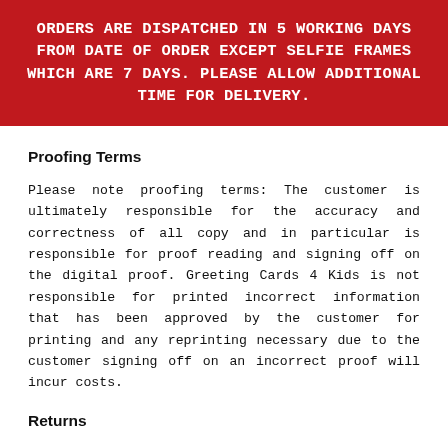ORDERS ARE DISPATCHED IN 5 WORKING DAYS FROM DATE OF ORDER EXCEPT SELFIE FRAMES WHICH ARE 7 DAYS. PLEASE ALLOW ADDITIONAL TIME FOR DELIVERY.
Proofing Terms
Please note proofing terms: The customer is ultimately responsible for the accuracy and correctness of all copy and in particular is responsible for proof reading and signing off on the digital proof. Greeting Cards 4 Kids is not responsible for printed incorrect information that has been approved by the customer for printing and any reprinting necessary due to the customer signing off on an incorrect proof will incur costs.
Returns
It is obviously advisable to check your order upon receipt in case of the rare possibility there are any